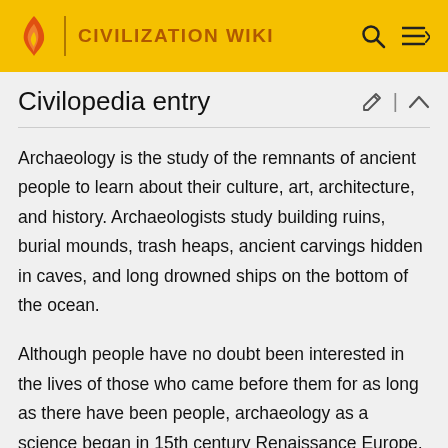CIVILIZATION WIKI
Civilopedia entry
Archaeology is the study of the remnants of ancient people to learn about their culture, art, architecture, and history. Archaeologists study building ruins, burial mounds, trash heaps, ancient carvings hidden in caves, and long drowned ships on the bottom of the ocean.
Although people have no doubt been interested in the lives of those who came before them for as long as there have been people, archaeology as a science began in 15th century Renaissance Europe, when people began to study and emulate the art and architecture of Ancient Greece and Rome and the wealthy nobility of Italy – popes,